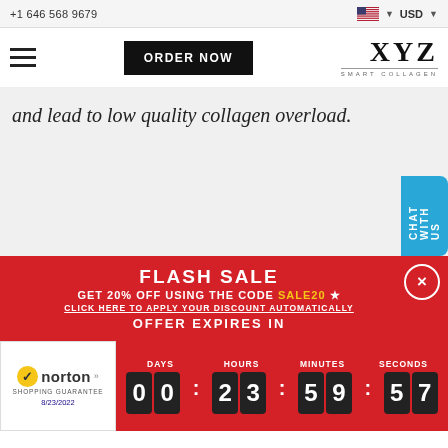+1 646 568 9679  USD
[Figure (screenshot): Navigation bar with hamburger menu, ORDER NOW button, and XYZ Smart Collagen logo]
and lead to low quality collagen overload.
[Figure (infographic): Flash sale banner: FLASH SALE GET 20% OFF USING THE CODE SALE20 CLICK HERE TO APPLY YOUR DISCOUNT AUTOMATICALLY OFFER EXPIRES IN 00:23:59:57 countdown timer with Norton Shopping Guarantee badge]